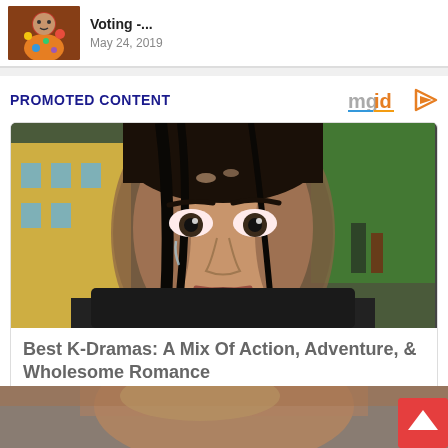[Figure (photo): Thumbnail of a man in colorful patterned shirt]
Voting -...
May 24, 2019
PROMOTED CONTENT
[Figure (logo): mgid logo with orange play button icon]
[Figure (photo): Close-up of an Asian woman with a distressed expression, used for K-Drama advertisement]
Best K-Dramas: A Mix Of Action, Adventure, & Wholesome Romance
Brainberries
[Figure (photo): Partial photo of a woman at the bottom of the page]